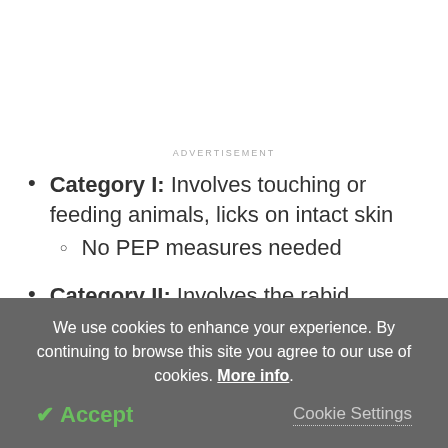ADVERTISEMENT
Category I: Involves touching or feeding animals, licks on intact skin
  - No PEP measures needed
Category II: Involves the rabid animal nibbling
We use cookies to enhance your experience. By continuing to browse this site you agree to our use of cookies. More info.
✓ Accept
Cookie Settings